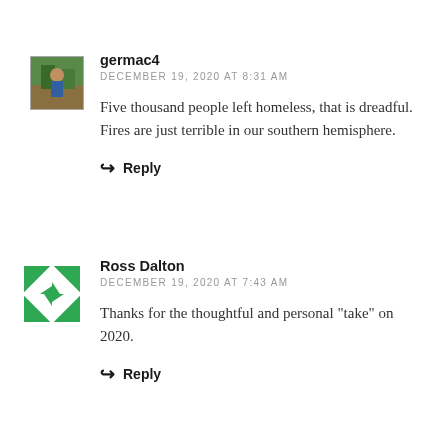[Figure (photo): Small avatar photo of user germac4, showing an outdoor scene]
germac4
DECEMBER 19, 2020 AT 8:31 AM
Five thousand people left homeless, that is dreadful. Fires are just terrible in our southern hemisphere.
Reply
[Figure (logo): Green and white geometric avatar/logo for Ross Dalton]
Ross Dalton
DECEMBER 19, 2020 AT 7:43 AM
Thanks for the thoughtful and personal "take" on 2020.
Reply